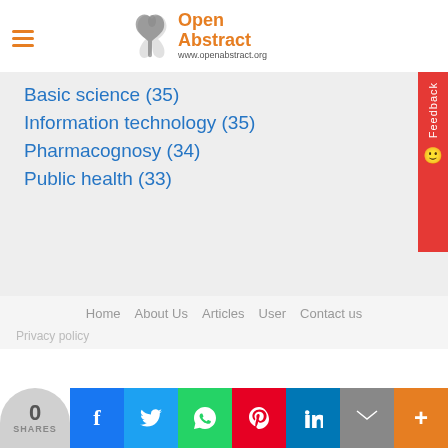Open Abstract www.openabstract.org
Basic science (35)
Information technology (35)
Pharmacognosy (34)
Public health (33)
Home   About Us   Articles   User   Contact us
Privacy policy